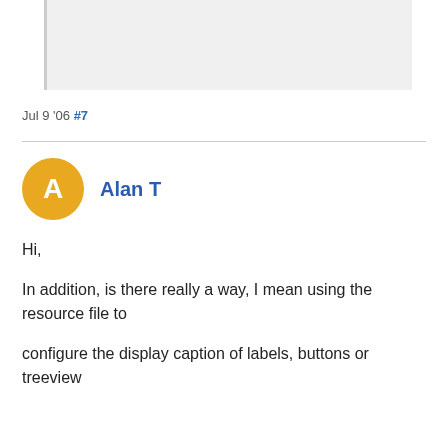[Figure (other): Code block area with light gray background and left border, partially visible at top of page]
Jul 9 '06 #7
Alan T
Hi,

In addition, is there really a way, I mean using the resource file to

configure the display caption of labels, buttons or treeview